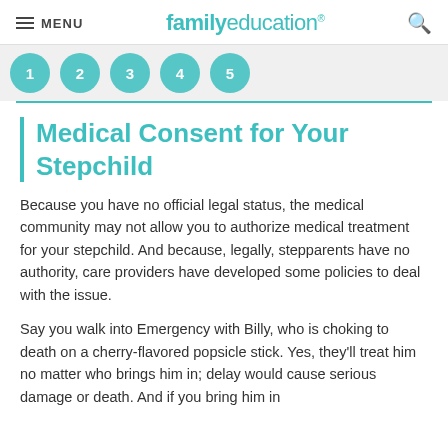MENU  familyeducation
[Figure (other): Row of five teal numbered circle icons partially visible at the top]
Medical Consent for Your Stepchild
Because you have no official legal status, the medical community may not allow you to authorize medical treatment for your stepchild. And because, legally, stepparents have no authority, care providers have developed some policies to deal with the issue.
Say you walk into Emergency with Billy, who is choking to death on a cherry-flavored popsicle stick. Yes, they'll treat him no matter who brings him in; delay would cause serious damage or death. And if you bring him in